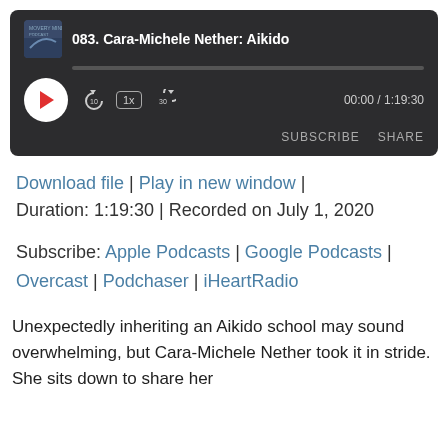[Figure (screenshot): Podcast audio player widget with dark background showing episode '083. Cara-Michele Nether: Aikido', play button, progress bar, speed controls (10 back, 1x, 30 forward), time display 00:00 / 1:19:30, Subscribe and Share buttons]
Download file | Play in new window |
Duration: 1:19:30 | Recorded on July 1, 2020
Subscribe: Apple Podcasts | Google Podcasts | Overcast | Podchaser | iHeartRadio
Unexpectedly inheriting an Aikido school may sound overwhelming, but Cara-Michele Nether took it in stride. She sits down to share her